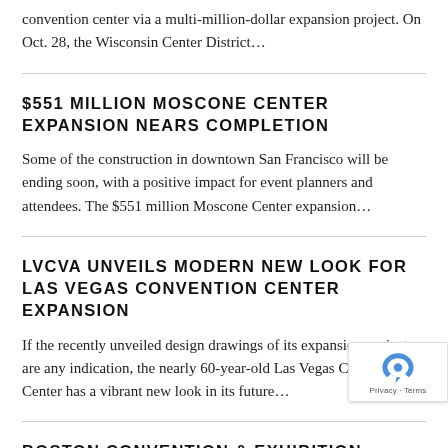convention center via a multi-million-dollar expansion project. On Oct. 28, the Wisconsin Center District…
$551 MILLION MOSCONE CENTER EXPANSION NEARS COMPLETION
Some of the construction in downtown San Francisco will be ending soon, with a positive impact for event planners and attendees. The $551 million Moscone Center expansion…
LVCVA UNVEILS MODERN NEW LOOK FOR LAS VEGAS CONVENTION CENTER EXPANSION
If the recently unveiled design drawings of its expansion project are any indication, the nearly 60-year-old Las Vegas Convention Center has a vibrant new look in its future…
BOSTON CONVENTION & EXHIBITION CENTER GREEN